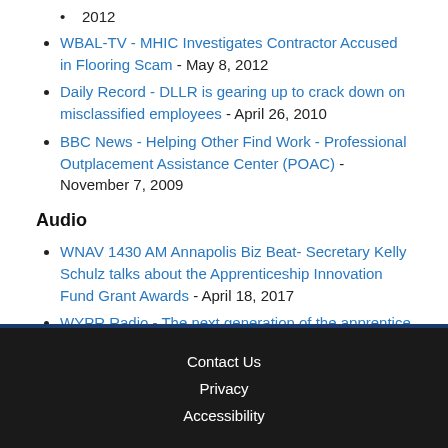2012
WBAL-TV - MHIC Investigates Contractor Accused in Flooring Scam - May 8, 2012
Daily Record - DLLR is gearing up to crack down on misclassified employees - April 26, 2010
BBC News - Helping Other Find Work - Professional Outplacement Assistance Center (POAC) - November 7, 2009
Audio
WNAV 1430 AM Annapolis Biz Beat- Secretary Kelly Schulz talks about the Apprenticeship Innovation Fund Grant Awards - April 18, 2017
WYPR Radio - The next generation of the apprentice - February 16, 2017
WOLB 1010 AM - Secretary Kelly Schulz talks about the Youth Apprenticeship program - August 23, 2016
Contact Us  Privacy  Accessibility